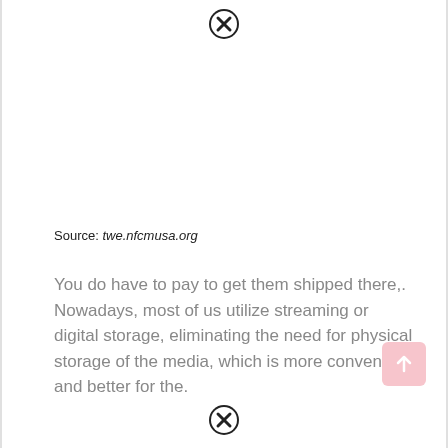[Figure (other): Close/dismiss icon (circle with X) at top center of page]
Source: twe.nfcmusa.org
You do have to pay to get them shipped there,. Nowadays, most of us utilize streaming or digital storage, eliminating the need for physical storage of the media, which is more convenient and better for the.
[Figure (other): Scroll-to-top button with upward arrow, pink/rose background, bottom right corner]
[Figure (other): Close/dismiss icon (circle with X) at bottom center of page]